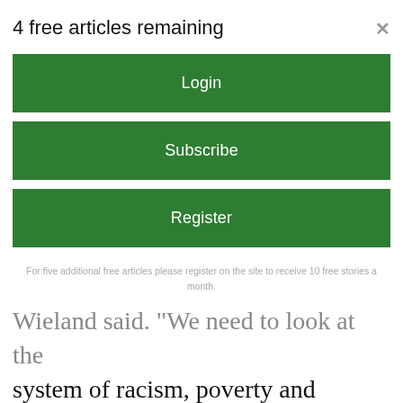4 free articles remaining
Login
Subscribe
Register
For five additional free articles please register on the site to receive 10 free stories a month. By registering you'll be opting in to receive our email newsletter and occasion promotions. You may opt out at any time.
Wieland said.  "We need to look at the system of racism, poverty and militarism. They need to be eradicated. They need to be exposed and changed."